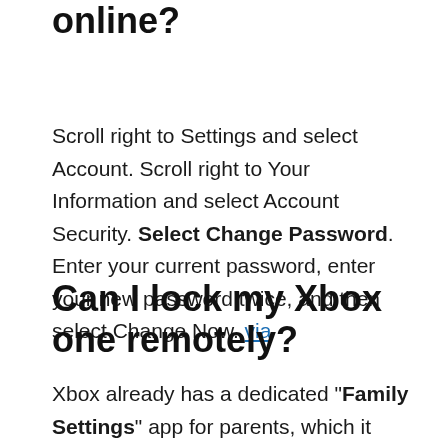online?
Scroll right to Settings and select Account. Scroll right to Your Information and select Account Security. Select Change Password. Enter your current password, enter your new password twice, and then select Change Now. via
Can I lock my Xbox one remotely?
Xbox already has a dedicated "Family Settings" app for parents, which it launched in September. From this app, parents will be able to "Pause Screen Time," Microsoft said Thursday. This means parents will b...